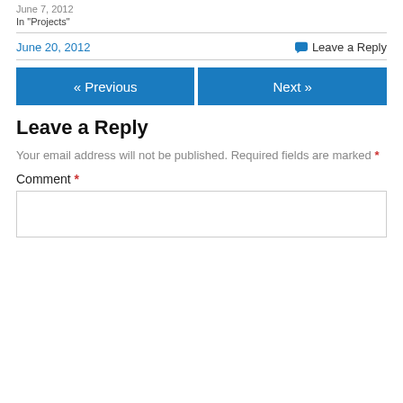June 7, 2012
In "Projects"
June 20, 2012    Leave a Reply
« Previous
Next »
Leave a Reply
Your email address will not be published. Required fields are marked *
Comment *